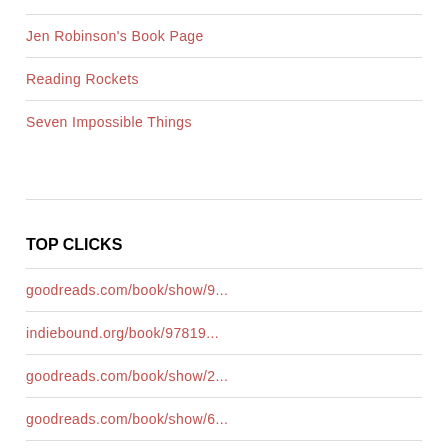Jen Robinson's Book Page
Reading Rockets
Seven Impossible Things
TOP CLICKS
goodreads.com/book/show/9...
indiebound.org/book/97819...
goodreads.com/book/show/2...
goodreads.com/book/show/6...
goodreads.com/book/show/1...